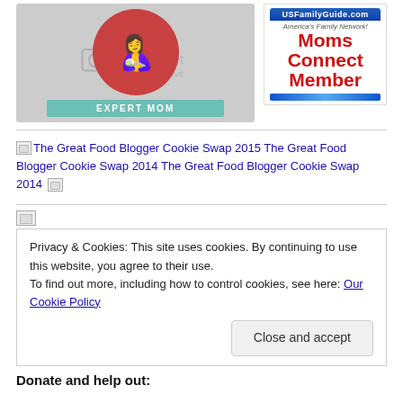[Figure (illustration): Expert Mom badge image with photobucket watermark overlay, circular illustration with woman and child, teal banner reading EXPERT MOM]
[Figure (logo): USFamilyGuide.com logo with map of US, text: America's Family Network!, Moms Connect Member in red bold text, blue stripe at bottom]
The Great Food Blogger Cookie Swap 2015 The Great Food Blogger Cookie Swap 2014
Privacy & Cookies: This site uses cookies. By continuing to use this website, you agree to their use.
To find out more, including how to control cookies, see here: Our Cookie Policy
Close and accept
Donate and help out: